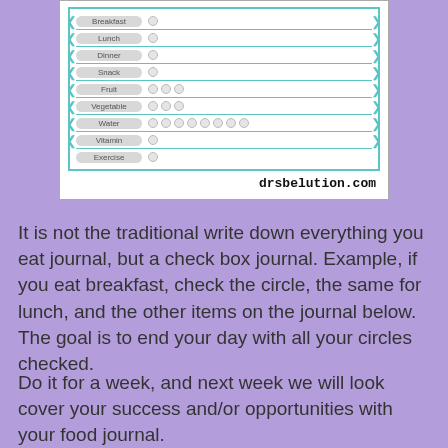[Figure (other): A food journal tracker card with rows for Breakfast, Lunch, Dinner, Snack, Fruit, Vegetable, Water, Vitamin, Exercise — each with circle checkboxes and teal bracket decorations. Watermark: drsbelution.com]
It is not the traditional write down everything you eat journal, but a check box journal. Example, if you eat breakfast, check the circle, the same for lunch, and the other items on the journal below.   The goal is to end your day with all your circles checked.
Do it for a week, and next week we will look cover your success and/or opportunities with your food journal.